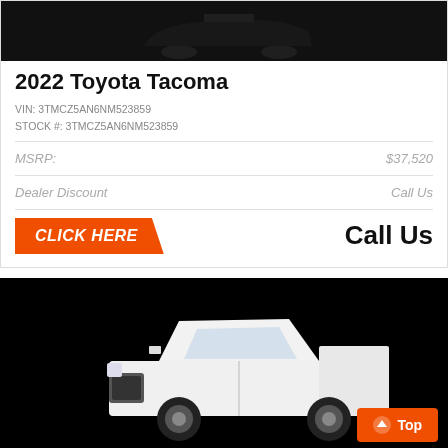[Figure (photo): Partial view of a dark/black truck on black background (top portion, cropped)]
2022 Toyota Tacoma
VIN: 3TMCZ5AN6NM523859
STOCK #: 3TMCZ5AN6NM523859
| MSRP: | $37,520 |
| Dealer Discount | Call Us |
CLICK HERE   Call Us
[Figure (photo): White Toyota Tacoma pickup truck on black background]